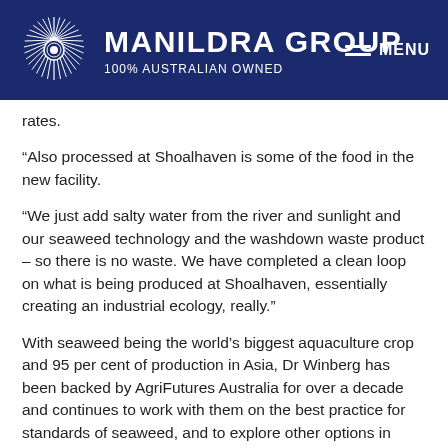MANILDRA GROUP — 100% AUSTRALIAN OWNED
rates.
“Also processed at Shoalhaven is some of the food in the new facility.
“We just add salty water from the river and sunlight and our seaweed technology and the washdown waste product – so there is no waste. We have completed a clean loop on what is being produced at Shoalhaven, essentially creating an industrial ecology, really.”
With seaweed being the world’s biggest aquaculture crop and 95 per cent of production in Asia, Dr Winberg has been backed by AgriFutures Australia for over a decade and continues to work with them on the best practice for standards of seaweed, and to explore other options in South Australia, Victoria and Tasmania, in a bid to enter the US$6 billion global market